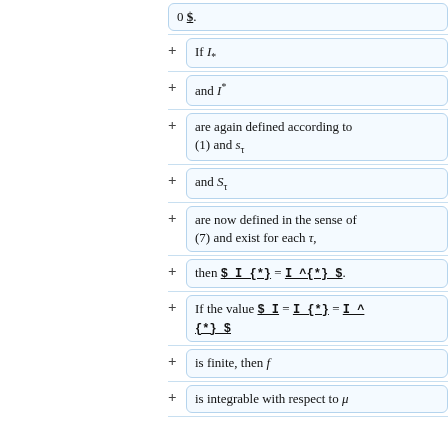0 $$.
If _I_*
and _I^*
are again defined according to (1) and _s_τ
and _S_τ
are now defined in the sense of (7) and exist for each _τ,
then $ I_{*} = I ^{*} $.
If the value $ I = I_{*} = I ^ {*} $
is finite, then _f
is integrable with respect to _μ